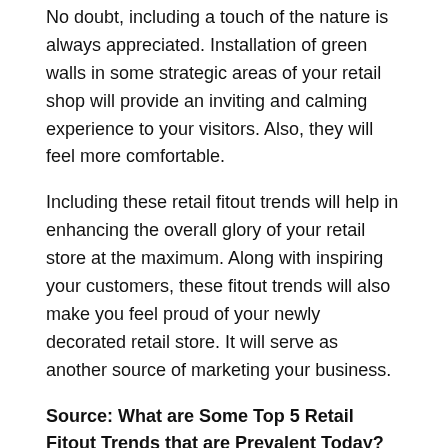No doubt, including a touch of the nature is always appreciated. Installation of green walls in some strategic areas of your retail shop will provide an inviting and calming experience to your visitors. Also, they will feel more comfortable.
Including these retail fitout trends will help in enhancing the overall glory of your retail store at the maximum. Along with inspiring your customers, these fitout trends will also make you feel proud of your newly decorated retail store. It will serve as another source of marketing your business.
Source: What are Some Top 5 Retail Fitout Trends that are Prevalent Today?
Read More: Retail Marketing: What Is It and Why Is It Important?